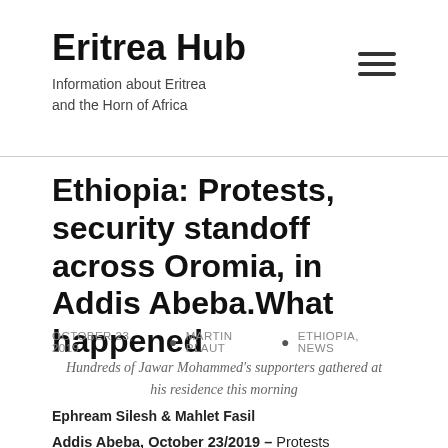Eritrea Hub
Information about Eritrea and the Horn of Africa
Ethiopia: Protests, security standoff across Oromia, in Addis Abeba.What happened
OCTOBER 23, 2019 • MARTIN PLAUT • ETHIOPIA, NEWS
Hundreds of Jawar Mohammed's supporters gathered at his residence this morning
Ephream Silesh & Mahlet Fasil
Addis Abeba, October 23/2019 – Protests erupted in several cities and towns across Oromia